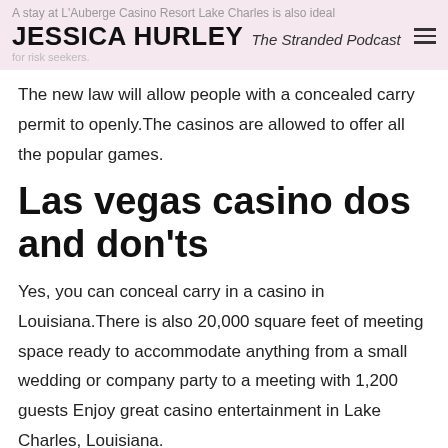A stay at L'Auberge Casino Resort Lake Charles is also ideal
JESSICA HURLEY  The Stranded Podcast
The new law will allow people with a concealed carry permit to openly.The casinos are allowed to offer all the popular games.
Las vegas casino dos and don'ts
Yes, you can conceal carry in a casino in Louisiana.There is also 20,000 square feet of meeting space ready to accommodate anything from a small wedding or company party to a meeting with 1,200 guests Enjoy great casino entertainment in Lake Charles, Louisiana.
Back in the 90s, the legislators came up with an act that prohibited "gambling by computer.In 1991 Louisiana